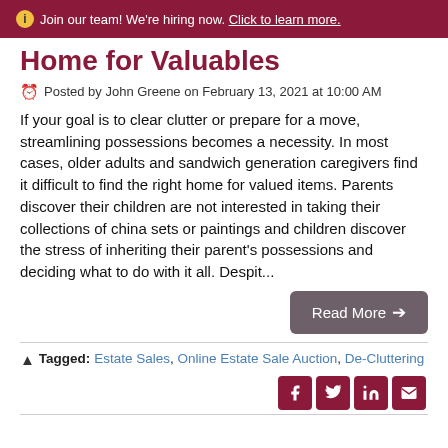Join our team! We're hiring now. Click to learn more.
Home for Valuables
Posted by John Greene on February 13, 2021 at 10:00 AM
If your goal is to clear clutter or prepare for a move, streamlining possessions becomes a necessity. In most cases, older adults and sandwich generation caregivers find it difficult to find the right home for valued items. Parents discover their children are not interested in taking their collections of china sets or paintings and children discover the stress of inheriting their parent's possessions and deciding what to do with it all. Despit...
Read More →
Tagged: Estate Sales, Online Estate Sale Auction, De-Cluttering